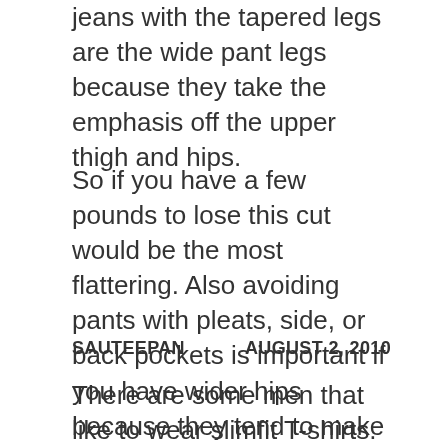jeans with the tapered legs are the wide pant legs because they take the emphasis off the upper thigh and hips.
So if you have a few pounds to lose this cut would be the most flattering. Also avoiding pants with pleats, side, or back pockets is important if you have wider hips because they tend to make you look heavier.
SAUTEEPAN        AUGUST 2, 2010
There are some men that like to wear slimfit T-shirts. They are often made of a soft light weight material made of cotton. Many men wear a